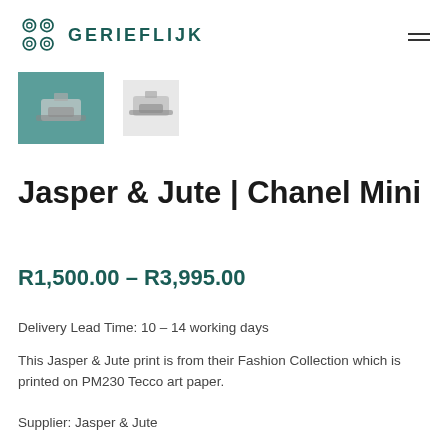[Figure (logo): Gerieflijk logo with teal geometric pattern and brand name in teal uppercase letters]
[Figure (photo): Two product thumbnail images showing a Jasper & Jute Chanel Mini print — one highlighted with teal border, one plain]
Jasper & Jute | Chanel Mini
R1,500.00 – R3,995.00
Delivery Lead Time: 10 – 14 working days
This Jasper & Jute print is from their Fashion Collection which is printed on PM230 Tecco art paper.
Supplier: Jasper & Jute